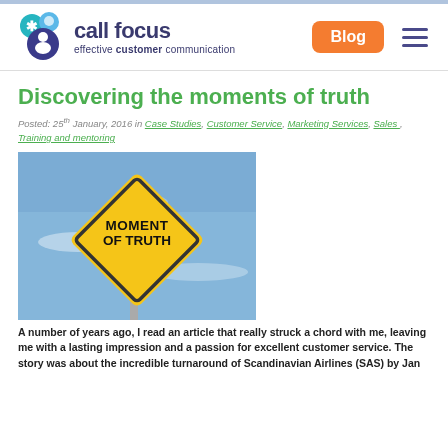call focus — effective customer communication | Blog
Discovering the moments of truth
Posted: 25th January, 2016 in Case Studies, Customer Service, Marketing Services, Sales , Training and mentoring
[Figure (photo): A yellow diamond-shaped road sign reading MOMENT OF TRUTH on a pole against a blue sky with light clouds.]
A number of years ago, I read an article that really struck a chord with me, leaving me with a lasting impression and a passion for excellent customer service. The story was about the incredible turnaround of Scandinavian Airlines (SAS) by Jan